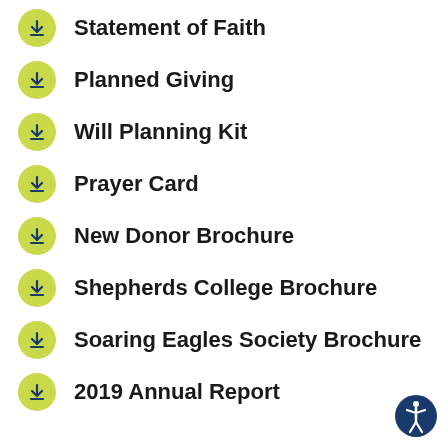Statement of Faith
Planned Giving
Will Planning Kit
Prayer Card
New Donor Brochure
Shepherds College Brochure
Soaring Eagles Society Brochure
2019 Annual Report